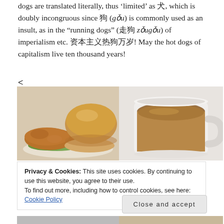dogs are translated literally, thus 'limited' as 犬, which is doubly incongruous since 狗 (gǒu) is commonly used as an insult, as in the "running dogs" (走狗 zǒugǒu) of imperialism etc. 资本主义热狗万岁! May the hot dogs of capitalism live ten thousand years!
[Figure (photo): Photo of a burger/sandwich with a bun, grilled meat patty and lettuce on a white plate]
[Figure (photo): Photo of a white mug filled with coffee with milk (latte/white coffee) on a white surface]
Privacy & Cookies: This site uses cookies. By continuing to use this website, you agree to their use.
To find out more, including how to control cookies, see here: Cookie Policy
Close and accept